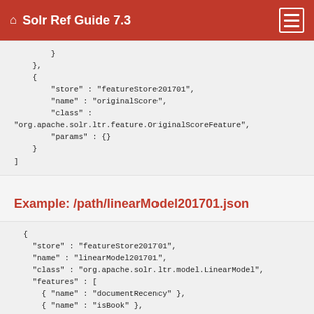🏠 Solr Ref Guide 7.3
}
  },
  {
    "store" : "featureStore201701",
    "name" : "originalScore",
    "class" :
"org.apache.solr.ltr.feature.OriginalScoreFeature",
    "params" : {}
  }
]
Example: /path/linearModel201701.json
{
  "store" : "featureStore201701",
  "name" : "linearModel201701",
  "class" : "org.apache.solr.ltr.model.LinearModel",
  "features" : [
    { "name" : "documentRecency" },
    { "name" : "isBook" },